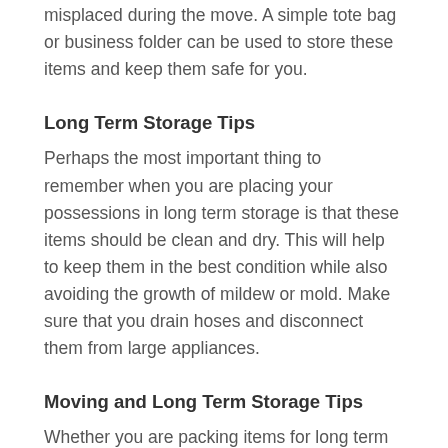misplaced during the move. A simple tote bag or business folder can be used to store these items and keep them safe for you.
Long Term Storage Tips
Perhaps the most important thing to remember when you are placing your possessions in long term storage is that these items should be clean and dry. This will help to keep them in the best condition while also avoiding the growth of mildew or mold. Make sure that you drain hoses and disconnect them from large appliances.
Moving and Long Term Storage Tips
Whether you are packing items for long term